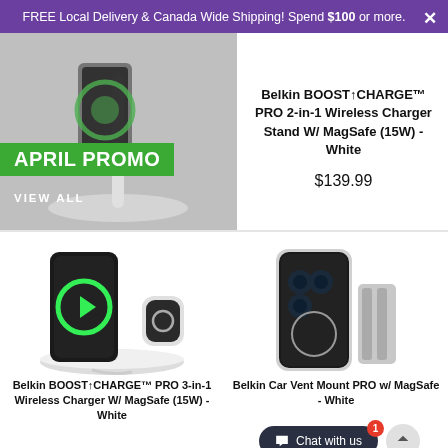FREE Local Delivery & Canada Wide Shipping! Spend $100 or more.
[Figure (photo): Product promo image showing a wireless charger stand with 'APRIL PROMO' green label and 'VIEW ALL' text in white]
Belkin BOOST↑CHARGE™ PRO 2-in-1 Wireless Charger Stand W/ MagSafe (15W) - White
$139.99
[Figure (photo): Belkin BOOST↑CHARGE PRO 3-in-1 Wireless Charger with phone, Apple Watch, and earbuds on white base]
Belkin BOOST↑CHARGE™ PRO 3-in-1 Wireless Charger W/ MagSafe (15W) - White
[Figure (photo): Belkin Car Vent Mount PRO with iPhone 12 mounted, silver car vent clip]
Belkin Car Vent Mount PRO w/ MagSafe - White